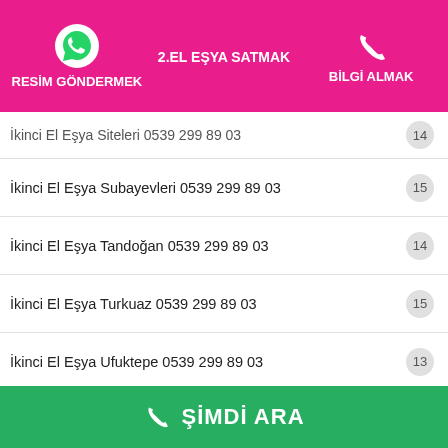RESİM GÖNDERMEK | 2.EL EŞYA SATMAK | BİLGİ ALMAK
İkinci El Eşya Siteleri 0539 299 89 03
İkinci El Eşya Subayevleri 0539 299 89 03
İkinci El Eşya Tandoğan 0539 299 89 03
İkinci El Eşya Turkuaz 0539 299 89 03
İkinci El Eşya Ufuktepe 0539 299 89 03
İkinci El Eşya Ulus 0539 299 89 03
İkinci El Eşya Ümitköy 0539 299 89 03
İkinci El Eşya Varlık 0539 299 89 03
ŞİMDİ ARA